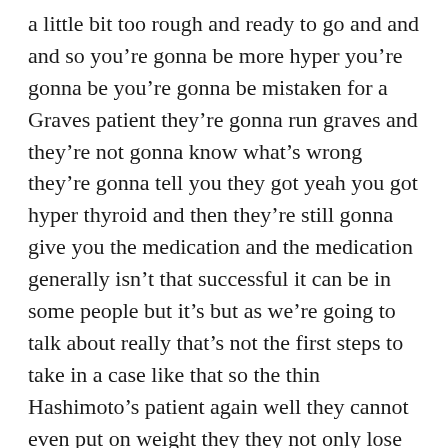a little bit too rough and ready to go and and and so you're gonna be more hyper you're gonna be you're gonna be mistaken for a Graves patient they're gonna run graves and they're not gonna know what's wrong they're gonna tell you they got yeah you got hyper thyroid and then they're still gonna give you the medication and the medication generally isn't that successful it can be in some people but it's but as we're going to talk about really that's not the first steps to take in a case like that so the thin Hashimoto's patient again well they cannot even put on weight they they not only lose weight but they can't put on weight no matter how they try so that's kind of the Cardinal Cardinal Cardinal side also along with you have it being thin and having a hypothyroid finding for your thyroid stimulating hormones so then Hashimoto's patient I think that kind of summarizes it especially with you having that access to the other video so that's it for today then Hashimoto's patient I hope that helps those of you out there who are in that dilemma to